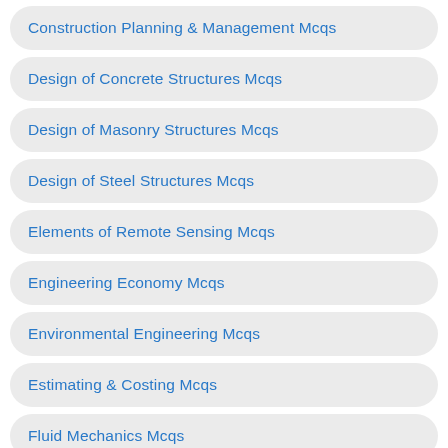Construction Planning & Management Mcqs
Design of Concrete Structures Mcqs
Design of Masonry Structures Mcqs
Design of Steel Structures Mcqs
Elements of Remote Sensing Mcqs
Engineering Economy Mcqs
Environmental Engineering Mcqs
Estimating & Costing Mcqs
Fluid Mechanics Mcqs
Highway Engineering Mcqs